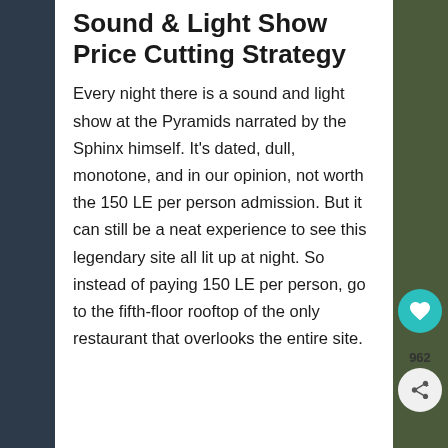Sound & Light Show Price Cutting Strategy
Every night there is a sound and light show at the Pyramids narrated by the Sphinx himself. It's dated, dull, monotone, and in our opinion, not worth the 150 LE per person admission. But it can still be a neat experience to see this legendary site all lit up at night. So instead of paying 150 LE per person, go to the fifth-floor rooftop of the only restaurant that overlooks the entire site.